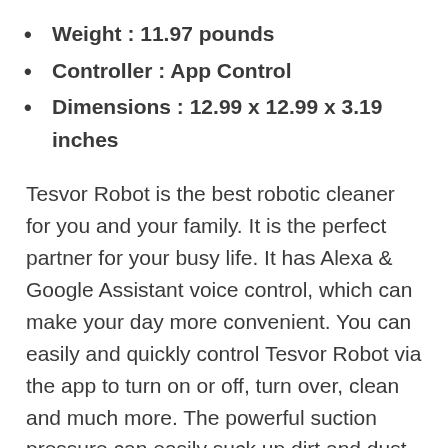Weight : 11.97 pounds
Controller : App Control
Dimensions : 12.99 x 12.99 x 3.19 inches
Tesvor Robot is the best robotic cleaner for you and your family. It is the perfect partner for your busy life. It has Alexa & Google Assistant voice control, which can make your day more convenient. You can easily and quickly control Tesvor Robot via the app to turn on or off, turn over, clean and much more. The powerful suction pressure can easily suck up dirt and dust, so it’s no longer a problem. The best robot vacuum cleaner under $200 will clean your house as you wish, saving time and energy. Easy to operate and beautiful in design, Tesvor Robot will never bore